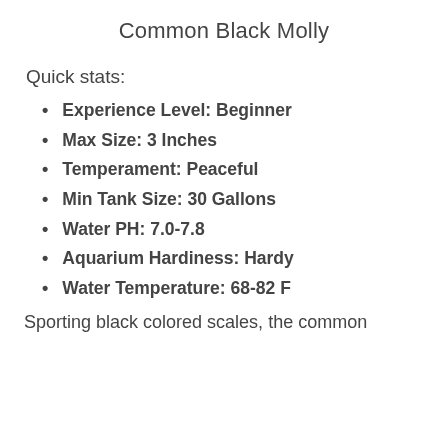Common Black Molly
Quick stats:
Experience Level: Beginner
Max Size: 3 Inches
Temperament: Peaceful
Min Tank Size: 30 Gallons
Water PH: 7.0-7.8
Aquarium Hardiness: Hardy
Water Temperature: 68-82 F
Sporting black colored scales, the common